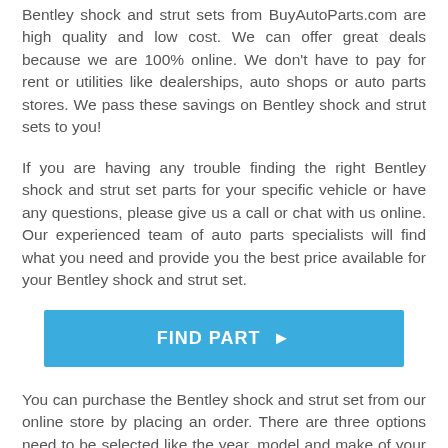Bentley shock and strut sets from BuyAutoParts.com are high quality and low cost. We can offer great deals because we are 100% online. We don't have to pay for rent or utilities like dealerships, auto shops or auto parts stores. We pass these savings on Bentley shock and strut sets to you!
If you are having any trouble finding the right Bentley shock and strut set parts for your specific vehicle or have any questions, please give us a call or chat with us online. Our experienced team of auto parts specialists will find what you need and provide you the best price available for your Bentley shock and strut set.
[Figure (other): Blue 'FIND PART ►' button]
You can purchase the Bentley shock and strut set from our online store by placing an order. There are three options need to be selected like the year, model and make of your vehicle. After selecting these options, you will be able to find all our